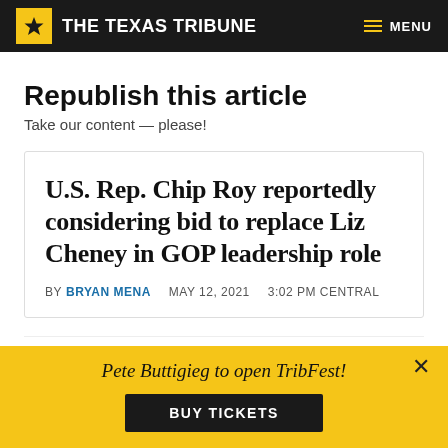THE TEXAS TRIBUNE
Republish this article
Take our content — please!
U.S. Rep. Chip Roy reportedly considering bid to replace Liz Cheney in GOP leadership role
BY BRYAN MENA   MAY 12, 2021   3:02 PM CENTRAL
HTML   PLAIN TEXT   COPY
Pete Buttigieg to open TribFest!
BUY TICKETS